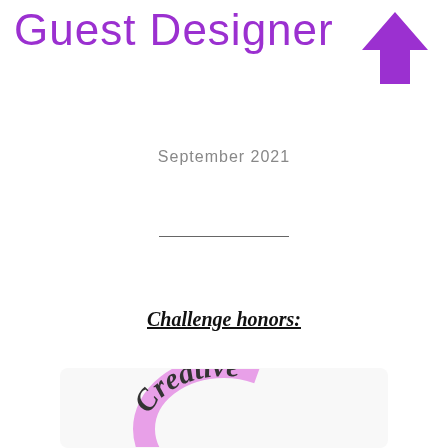Guest Designer
[Figure (illustration): Purple upward-pointing arrow icon]
September 2021
[Figure (illustration): Horizontal divider line]
Challenge honors:
[Figure (logo): Creative badge with pink circular arc and stylized text reading 'Creative']